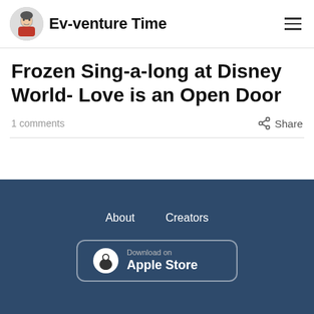Ev-venture Time
Frozen Sing-a-long at Disney World- Love is an Open Door
1 comments
Share
About  Creators  Download on Apple Store